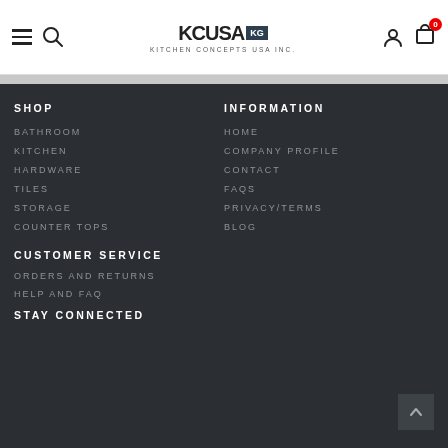KCUSA Kitchen Concepts USA Inc. — navigation header with hamburger, search, logo, user, cart (0)
SHOP
BATHROOM
KITCHEN
HARDWARE
TILES
STORAGE
COUNTER TOPS
INFORMATION
HOME
COMPANY PROFILE
CONTACT
FAQS
PRIVACY/TERMS
BLOG
CUSTOMER SERVICE
ORDERS AND RETURNS
HELP AND FAQ
STAY CONNECTED